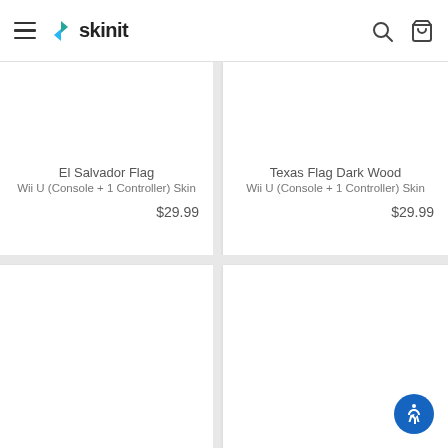skinit
El Salvador Flag
Wii U (Console + 1 Controller) Skin
$29.99
Texas Flag Dark Wood
Wii U (Console + 1 Controller) Skin
$29.99